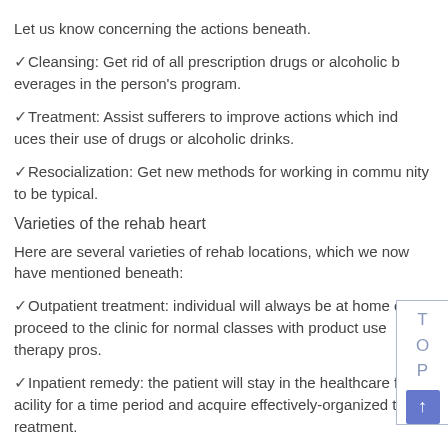Let us know concerning the actions beneath.
✓Cleansing: Get rid of all prescription drugs or alcoholic beverages in the person's program.
✓Treatment: Assist sufferers to improve actions which induces their use of drugs or alcoholic drinks.
✓Resocialization: Get new methods for working in community to be typical.
Varieties of the rehab heart
Here are several varieties of rehab locations, which we now have mentioned beneath:
✓Outpatient treatment: individual will always be at home or proceed to the clinic for normal classes with product use therapy pros.
✓Inpatient remedy: the patient will stay in the healthcare facility for a time period and acquire effectively-organized treatment.